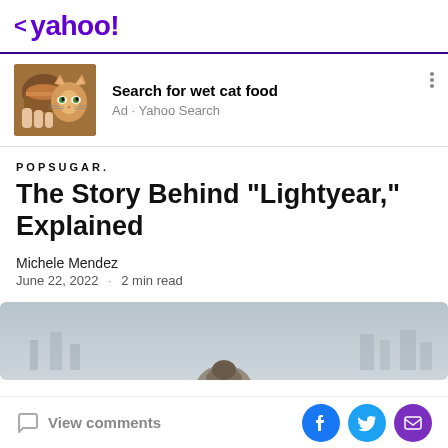< yahoo!
[Figure (photo): Advertisement banner with a cat and wet cat food image. Text: Search for wet cat food. Ad · Yahoo Search]
POPSUGAR.
The Story Behind "Lightyear," Explained
Michele Mendez
June 22, 2022 · 2 min read
[Figure (photo): Partially visible article hero image showing a misty cityscape with a character silhouette]
View comments
View comments | Facebook | Twitter | Email share buttons